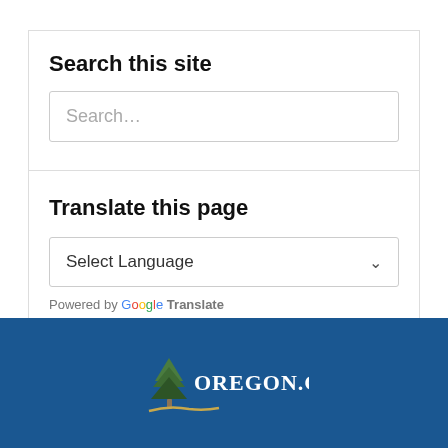Search this site
Search…
Translate this page
Select Language
Powered by Google Translate
[Figure (logo): Oregon.gov logo with green tree and gold path on dark blue background]